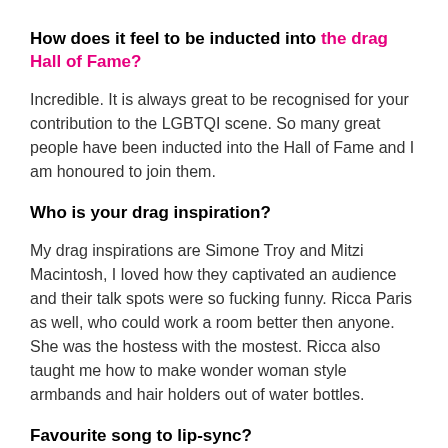How does it feel to be inducted into the drag Hall of Fame?
Incredible. It is always great to be recognised for your contribution to the LGBTQI scene. So many great people have been inducted into the Hall of Fame and I am honoured to join them.
Who is your drag inspiration?
My drag inspirations are Simone Troy and Mitzi Macintosh, I loved how they captivated an audience and their talk spots were so fucking funny. Ricca Paris as well, who could work a room better then anyone. She was the hostess with the mostest. Ricca also taught me how to make wonder woman style armbands and hair holders out of water bottles.
Favourite song to lip-sync?
“I Am Woman”, I feel it empowers me as a performer